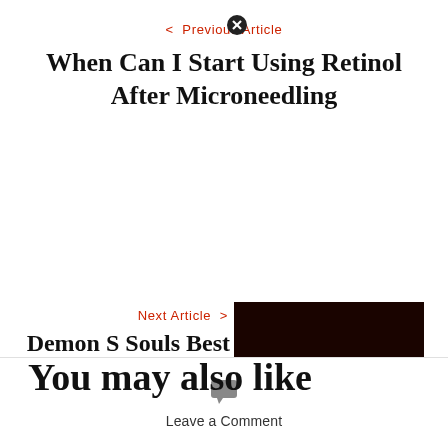< Previous Article
When Can I Start Using Retinol After Microneedling
Next Article >
Demon S Souls Best Weapons Pve
[Figure (photo): Dark nighttime scene with red glowing lights and a silhouetted figure]
You may also like
Leave a Comment